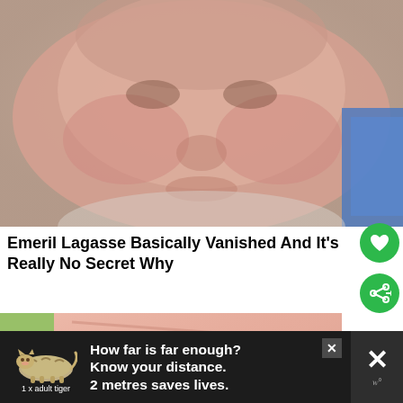[Figure (photo): Close-up photo of a middle-aged man's face, appearing to be Emeril Lagasse, with reddish complexion, wearing a light-colored shirt, with a partial blue background visible on the right side]
Emeril Lagasse Basically Vanished And It's Really No Secret Why
[Figure (photo): Close-up photo of raw meat (appears to be beef/steak) with a green background partially visible, and a 'What's Next: NYC Graffiti Tours' overlay in the top right]
[Figure (infographic): Advertisement banner with dark background showing a tiger silhouette, text reading 'How far is far enough? Know your distance. 2 metres saves lives.' and '1 x adult tiger' label, with close buttons]